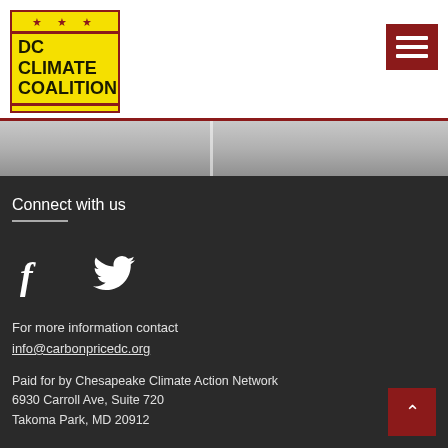[Figure (logo): DC Climate Coalition logo — yellow box with red stars, red horizontal lines, and bold black text reading DC CLIMATE COALITION]
[Figure (screenshot): Hamburger menu button (three white horizontal lines on dark red background)]
[Figure (photo): Gray-toned banner image (city/landscape photo, low contrast, split by vertical divider)]
Connect with us
[Figure (illustration): Facebook icon (white f) and Twitter bird icon (white)]
For more information contact info@carbonpricedc.org
Paid for by Chesapeake Climate Action Network
6930 Carroll Ave, Suite 720
Takoma Park, MD 20912